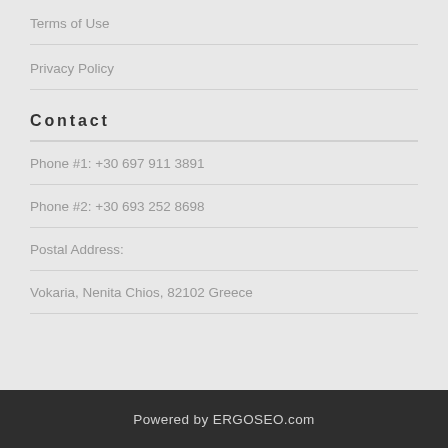Terms of Use
Privacy Policy
Contact
Phone #1: +30 697 911 3891
Phone #2: +30 693 252 8698
Postal Address:
Vokaria, Nenita Chios, 82102 Greece
Powered by ERGOSEO.com